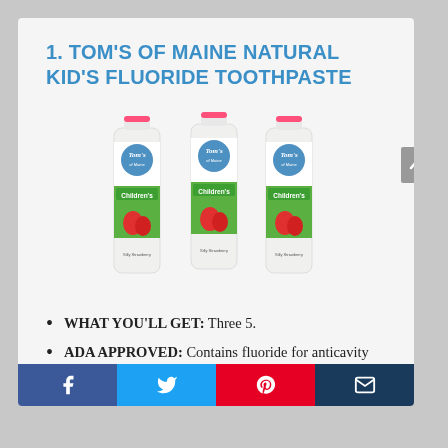1. TOM'S OF MAINE NATURAL KID'S FLUORIDE TOOTHPASTE
[Figure (photo): Three tubes of Tom's of Maine Children's Strawberry fluoride toothpaste side by side]
WHAT YOU'LL GET: Three 5.
ADA APPROVED: Contains fluoride for anticavity protection, and calcium and silica to gently clean teeth.
TASTE THEY LOVE: You asked.